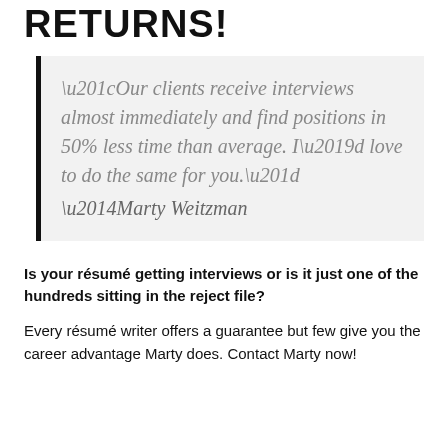RETURNS!
“Our clients receive interviews almost immediately and find positions in 50% less time than average. I’d love to do the same for you.” —Marty Weitzman
Is your résumé getting interviews or is it just one of the hundreds sitting in the reject file?
Every résumé writer offers a guarantee but few give you the career advantage Marty does. Contact Marty now!